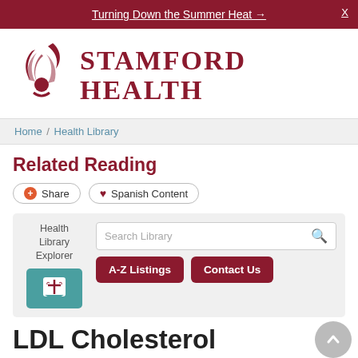Turning Down the Summer Heat →
[Figure (logo): Stamford Health logo with stylized flame/person icon in dark red and text 'STAMFORD HEALTH']
Home / Health Library
Related Reading
Share | Spanish Content
[Figure (screenshot): Health Library Explorer box with search field, A-Z Listings button, Contact Us button, and medical shield icon]
LDL Cholesterol